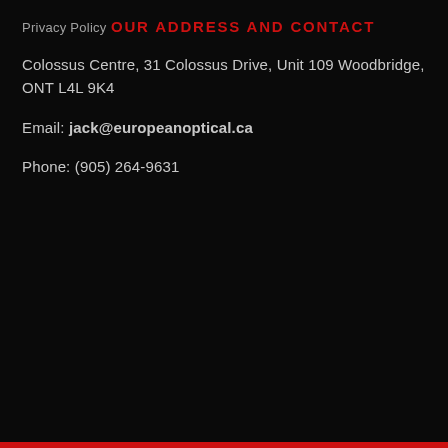Privacy Policy
OUR ADDRESS AND CONTACT
Colossus Centre, 31 Colossus Drive, Unit 109 Woodbridge, ONT L4L 9K4
Email: jack@europeanoptical.ca
Phone: (905) 264-9631